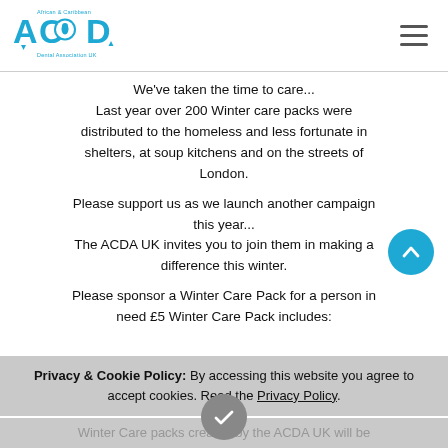[Figure (logo): African & Caribbean Dental Association UK logo in blue]
We've taken the time to care... Last year over 200 Winter care packs were distributed to the homeless and less fortunate in shelters, at soup kitchens and on the streets of London.
Please support us as we launch another campaign this year... The ACDA UK invites you to join them in making a difference this winter.
Please sponsor a Winter Care Pack for a person in need £5 Winter Care Pack includes:
Privacy & Cookie Policy: By accessing this website you agree to accept cookies. Read the Privacy Policy.
Winter Care packs created by the ACDA UK will be